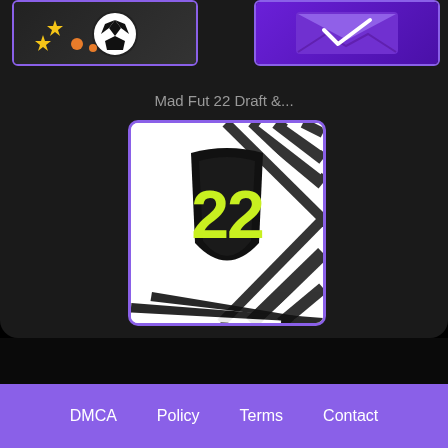[Figure (screenshot): Two app icon thumbnails at top, one with soccer/football theme (stars and ball), one with purple envelope/card theme]
Mad Fut 22 Draft &...
[Figure (illustration): Mad Fut 22 app icon: black and white zebra-patterned background with large yellow-green number 22 on a black trophy/shield shape]
DMCA   Policy   Terms   Contact